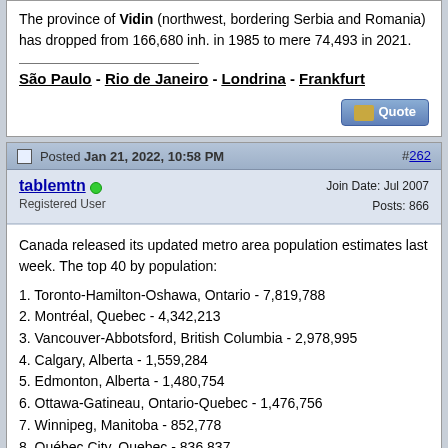The province of Vidin (northwest, bordering Serbia and Romania) has dropped from 166,680 inh. in 1985 to mere 74,493 in 2021.
São Paulo - Rio de Janeiro - Londrina - Frankfurt
Posted Jan 21, 2022, 10:58 PM
#262
tablemtn
Registered User
Join Date: Jul 2007
Posts: 866
Canada released its updated metro area population estimates last week. The top 40 by population:
1. Toronto-Hamilton-Oshawa, Ontario - 7,819,788
2. Montréal, Quebec - 4,342,213
3. Vancouver-Abbotsford, British Columbia - 2,978,995
4. Calgary, Alberta - 1,559,284
5. Edmonton, Alberta - 1,480,754
6. Ottawa-Gatineau, Ontario-Quebec - 1,476,756
7. Winnipeg, Manitoba - 852,778
8. Québec City, Quebec - 836,837
9. Kitchener-Cambridge-Waterloo-Guelph, Ontario - 769,978
10. London, Ontario - 556,397
...